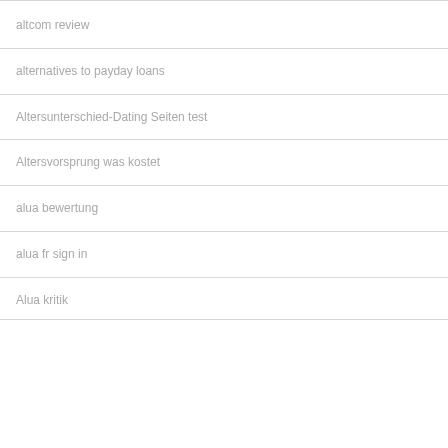altcom review
alternatives to payday loans
Altersunterschied-Dating Seiten test
Altersvorsprung was kostet
alua bewertung
alua fr sign in
Alua kritik